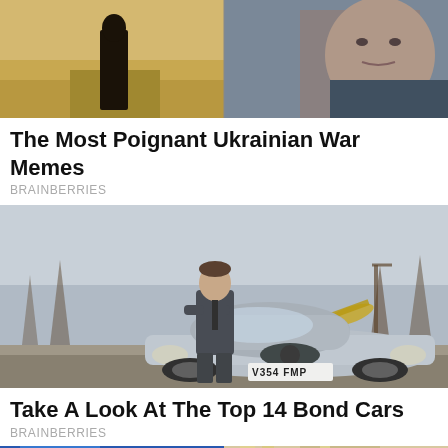[Figure (photo): Two men in a desert/road setting - split image showing action scene on left and close-up face on right]
The Most Poignant Ukrainian War Memes
BRAINBERRIES
[Figure (photo): Man in grey suit leaning against a silver BMW Z8 sports car with license plate V354 FMP, with oil derricks in the background]
Take A Look At The Top 14 Bond Cars
BRAINBERRIES
[Figure (photo): Partial image of a person with blonde hair against blue background - bottom of page, cropped]